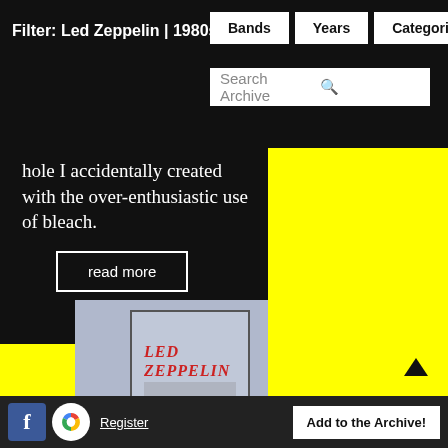Filter: Led Zeppelin | 1980s
hole I accidentally created with the over-enthusiastic use of bleach.
read more
[Figure (photo): Led Zeppelin album DVD/box set with Led Zeppelin logo badge, 80s tag, and comment badge showing '1']
Register  Add to the Archive!